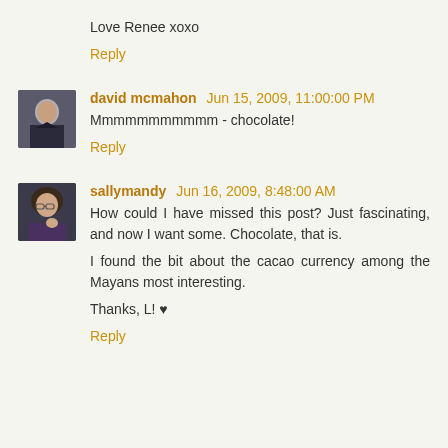Love Renee xoxo
Reply
david mcmahon  Jun 15, 2009, 11:00:00 PM
Mmmmmmmmmmm - chocolate!
Reply
sallymandy  Jun 16, 2009, 8:48:00 AM
How could I have missed this post? Just fascinating, and now I want some. Chocolate, that is.
I found the bit about the cacao currency among the Mayans most interesting.
Thanks, L! ♥
Reply